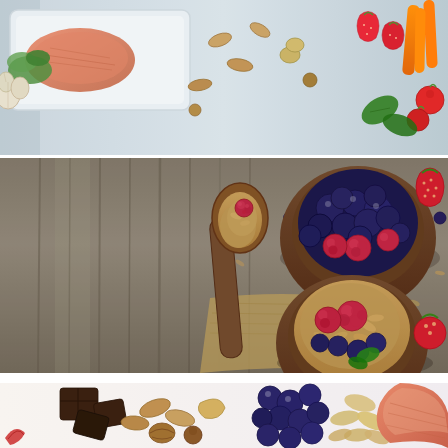[Figure (photo): Top-down view of healthy foods on a light blue/grey surface including salmon fillet on a plate with herbs, garlic, nuts (almonds, pistachios), strawberries, carrots, cherry tomatoes, and basil leaves.]
[Figure (photo): Overhead view of granola/oats in wooden bowls and on a wooden spoon, topped with fresh raspberries and blueberries, on a rustic wood plank background with burlap cloth. A strawberry is visible at the bottom right.]
[Figure (photo): Partial view of healthy foods arranged including dark chocolate pieces, mixed nuts (almonds, cashews), blueberries, oats, and salmon fillets on a white background.]